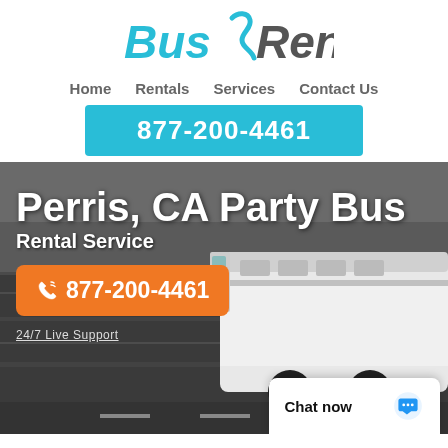[Figure (logo): BusRental logo with cyan swoosh between Bus and Rental text]
Home  Rentals  Services  Contact Us
877-200-4461
[Figure (photo): Hero section with bus on highway background]
Perris, CA Party Bus
Rental Service
877-200-4461
24/7 Live Support
Chat now